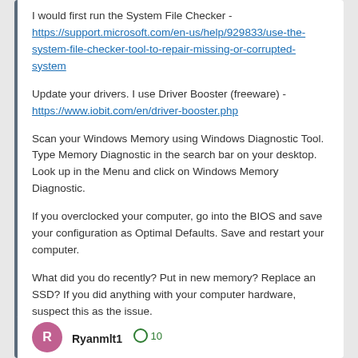I would first run the System File Checker - https://support.microsoft.com/en-us/help/929833/use-the-system-file-checker-tool-to-repair-missing-or-corrupted-system
Update your drivers.  I use Driver Booster (freeware) - https://www.iobit.com/en/driver-booster.php
Scan your Windows Memory using Windows Diagnostic Tool.  Type Memory Diagnostic in the search bar on your desktop.  Look up in the Menu and click on Windows Memory Diagnostic.
If you overclocked your computer, go into the BIOS and save your configuration as Optimal Defaults.  Save and restart your computer.
What did you do recently?  Put in new memory?  Replace an SSD?  If you did anything with your computer hardware, suspect this as the issue.
Ryanmlt1  10